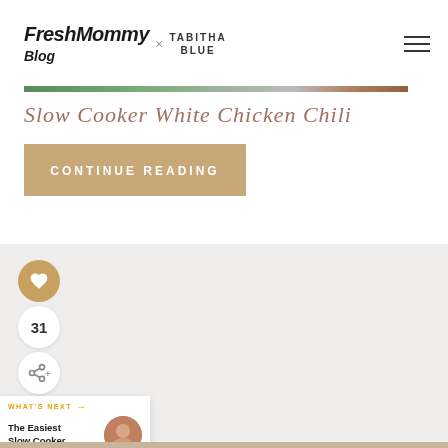Fresh Mommy Blog × TABITHA BLUE
Slow Cooker White Chicken Chili
CONTINUE READING
31
WHAT'S NEXT → The Easiest Slow Cooker...